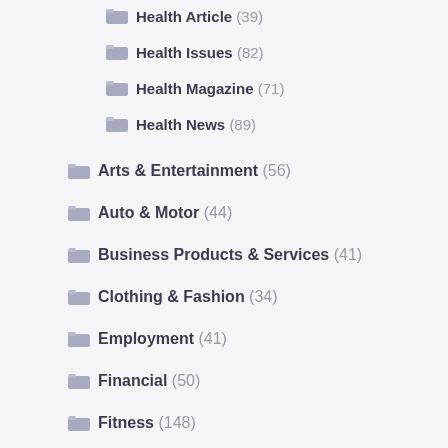Health Article (39)
Health Issues (82)
Health Magazine (71)
Health News (89)
Arts & Entertainment (56)
Auto & Motor (44)
Business Products & Services (41)
Clothing & Fashion (34)
Employment (41)
Financial (50)
Fitness (148)
Health And Fitness (14)
Health And Wellness (45)